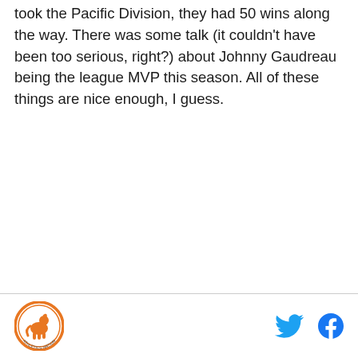took the Pacific Division, they had 50 wins along the way. There was some talk (it couldn't have been too serious, right?) about Johnny Gaudreau being the league MVP this season. All of these things are nice enough, I guess.
[Figure (logo): Circular sports team logo with orange border and athletic figure illustration]